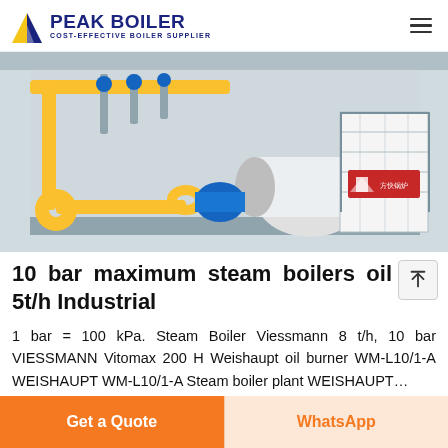PEAK BOILER COST-EFFECTIVE BOILER SUPPLIER
[Figure (photo): Industrial steam boiler facility with yellow pipes, blue motors, and a white boiler unit with red Chinese logo markings, inside a large warehouse.]
10 bar maximum steam boilers oil 5t/h Industrial
1 bar = 100 kPa. Steam Boiler Viessmann 8 t/h, 10 bar VIESSMANN Vitomax 200 H Weishaupt oil burner WM-L10/1-A WEISHAUPT WM-L10/1-A Steam boiler plant WEISHAUPT...